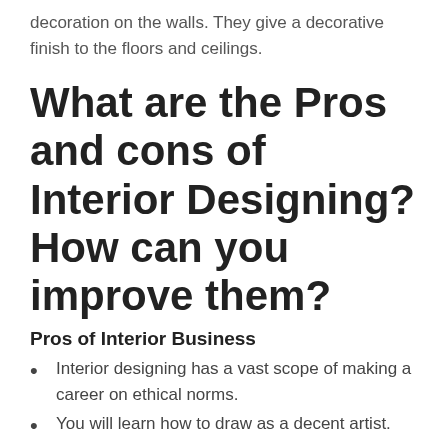decoration on the walls. They give a decorative finish to the floors and ceilings.
What are the Pros and cons of Interior Designing? How can you improve them?
Pros of Interior Business
Interior designing has a vast scope of making a career on ethical norms.
You will learn how to draw as a decent artist.
You will be familiar with the digitalized